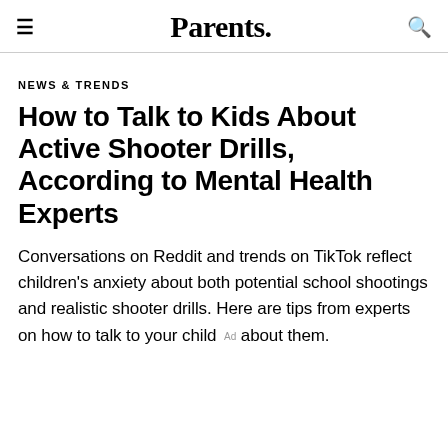Parents.
NEWS & TRENDS
How to Talk to Kids About Active Shooter Drills, According to Mental Health Experts
Conversations on Reddit and trends on TikTok reflect children's anxiety about both potential school shootings and realistic shooter drills. Here are tips from experts on how to talk to your child about them.